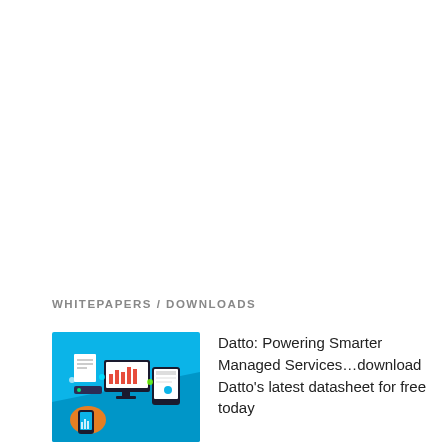WHITEPAPERS / DOWNLOADS
[Figure (illustration): Illustration showing managed IT services concepts: desktop monitor, tablet, mobile phone, documents, and connected devices on a blue background with Datto branding]
Datto: Powering Smarter Managed Services…download Datto's latest datasheet for free today